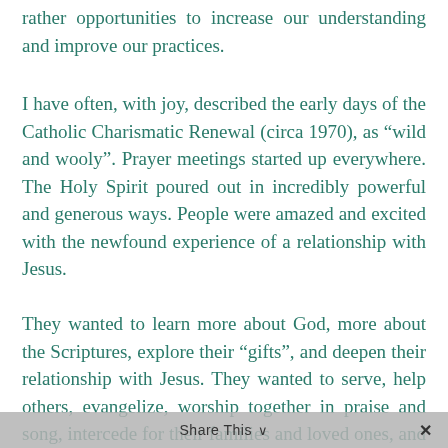rather opportunities to increase our understanding and improve our practices.
I have often, with joy, described the early days of the Catholic Charismatic Renewal (circa 1970), as “wild and wooly”. Prayer meetings started up everywhere. The Holy Spirit poured out in incredibly powerful and generous ways. People were amazed and excited with the newfound experience of a relationship with Jesus.
They wanted to learn more about God, more about the Scriptures, explore their “gifts”, and deepen their relationship with Jesus. They wanted to serve, help others, evangelize, worship together in praise and song, intercede for their families and loved ones, and apply their new or renewed faith to every aspect of
Share This